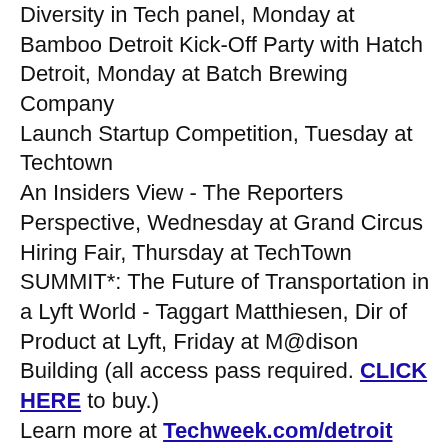Diversity in Tech panel, Monday at Bamboo Detroit Kick-Off Party with Hatch Detroit, Monday at Batch Brewing Company
Launch Startup Competition, Tuesday at Techtown
An Insiders View - The Reporters Perspective, Wednesday at Grand Circus
Hiring Fair, Thursday at TechTown
SUMMIT*: The Future of Transportation in a Lyft World - Taggart Matthiesen, Dir of Product at Lyft, Friday at M@dison Building (all access pass required. CLICK HERE to buy.)
Learn more at Techweek.com/detroit
[Figure (photo): Taboola Feed logo followed by a photo strip showing a person with blond hair in the center, grey/blurred panels on the left and right]